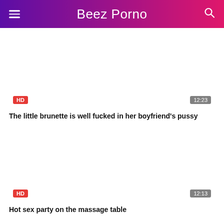Beez Porno
[Figure (other): Video thumbnail placeholder for first video with HD badge and 12:23 duration]
The little brunette is well fucked in her boyfriend's pussy
[Figure (other): Video thumbnail placeholder for second video with HD badge and 12:13 duration]
Hot sex party on the massage table